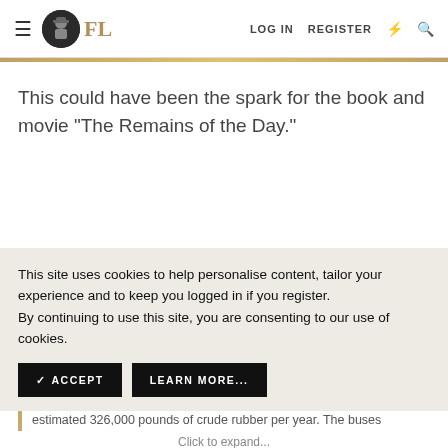FL | LOG IN | REGISTER
This could have been the spark for the book and movie "The Remains of the Day."
This site uses cookies to help personalise content, tailor your experience and to keep you logged in if you register.
By continuing to use this site, you are consenting to our use of cookies.
✓ ACCEPT   LEARN MORE...
Transportation. Elimination of the "rubbernecker specials" will save an estimated 326,000 pounds of crude rubber per year. The buses
Click to expand...